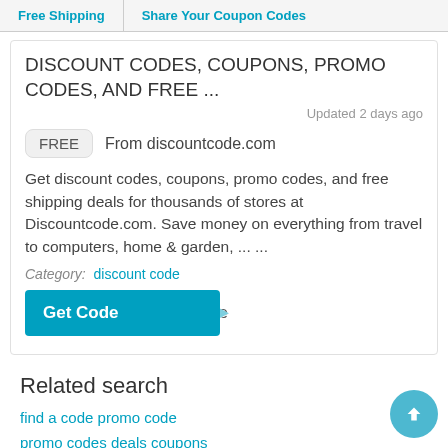Free Shipping | Share Your Coupon Codes
DISCOUNT CODES, COUPONS, PROMO CODES, AND FREE ...
Updated 2 days ago
FREE  From discountcode.com
Get discount codes, coupons, promo codes, and free shipping deals for thousands of stores at Discountcode.com. Save money on everything from travel to computers, home & garden, ... ...
Category:  discount code
Get Code
Related search
find a code promo code
promo codes deals coupons
discount codes for promotional products
retailmenot online couponing coupons retailmenot